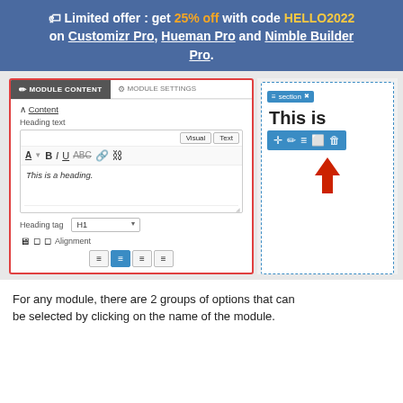🏷 Limited offer : get 25% off with code HELLO2022 on Customizr Pro, Hueman Pro and Nimble Builder Pro.
[Figure (screenshot): Screenshot of a WordPress Nimble Builder module content panel (left) showing MODULE CONTENT and MODULE SETTINGS tabs, Content section with Heading text field, Visual/Text editor tabs, formatting toolbar, 'This is a heading.' text content, Heading tag H1 dropdown, Alignment controls with device icons and alignment buttons. Right side shows a live preview area with a 'section' badge, 'This is' heading preview, block toolbar with move/edit/settings/duplicate/delete icons, and a red arrow pointing upward.]
For any module, there are 2 groups of options that can be selected by clicking on the name of the module.